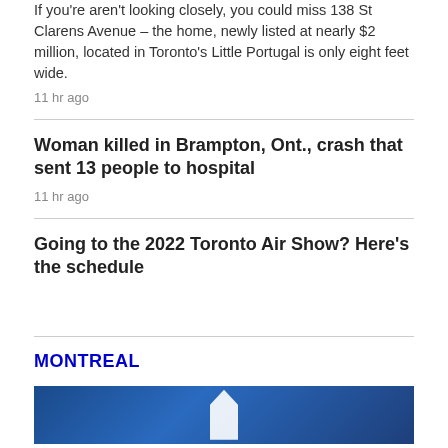If you're aren't looking closely, you could miss 138 St Clarens Avenue – the home, newly listed at nearly $2 million, located in Toronto's Little Portugal is only eight feet wide.
11 hr ago
Woman killed in Brampton, Ont., crash that sent 13 people to hospital
11 hr ago
Going to the 2022 Toronto Air Show? Here's the schedule
MONTREAL
[Figure (photo): Blue-toned photo with a white figure/shape visible, likely a person at a podium or event in Montreal]